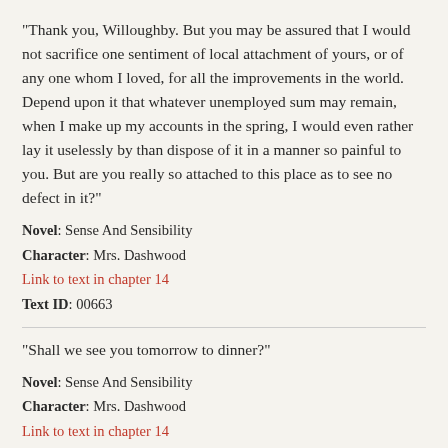"Thank you, Willoughby. But you may be assured that I would not sacrifice one sentiment of local attachment of yours, or of any one whom I loved, for all the improvements in the world. Depend upon it that whatever unemployed sum may remain, when I make up my accounts in the spring, I would even rather lay it uselessly by than dispose of it in a manner so painful to you. But are you really so attached to this place as to see no defect in it?"
Novel: Sense And Sensibility
Character: Mrs. Dashwood
Link to text in chapter 14
Text ID: 00663
"Shall we see you tomorrow to dinner?"
Novel: Sense And Sensibility
Character: Mrs. Dashwood
Link to text in chapter 14
Text ID: 00692
"I do not ask you to come in the morning, for we must walk to the window-blinds at all—